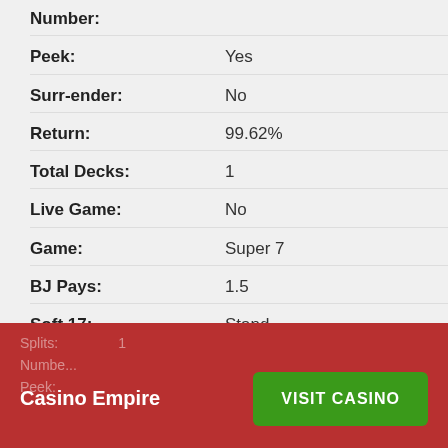Number:
Peek: Yes
Surr-ender: No
Return: 99.62%
Total Decks: 1
Live Game: No
Game: Super 7
BJ Pays: 1.5
Soft 17: Stand
Double After Split: Yes
Double: Any 2
Casino Empire  VISIT CASINO